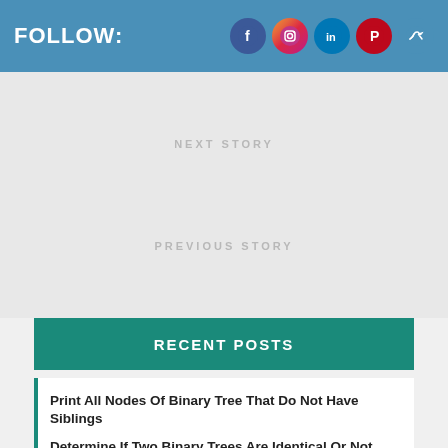FOLLOW:
NEXT STORY
PREVIOUS STORY
RECENT POSTS
Print All Nodes Of Binary Tree That Do Not Have Siblings
Determine If Two Binary Trees Are Identical Or Not
Print All Root To Leaf Paths In A Binary Tree